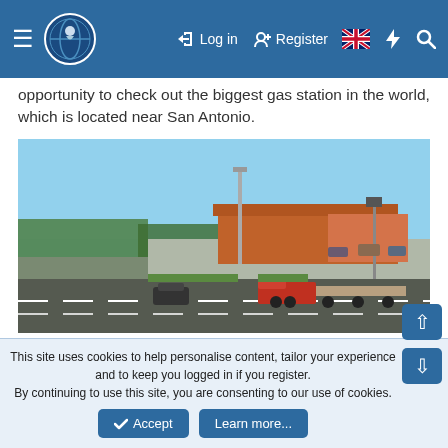≡ [logo] Log in Register [UK flag] ⚡ 🔍
opportunity to check out the biggest gas station in the world, which is located near San Antonio.
[Figure (screenshot): In-game screenshot from American Truck Simulator showing a large gas station complex with a red semi-truck hauling a flatbed trailer on a road, trees and buildings in background under a clear blue sky.]
[Figure (screenshot): In-game screenshot showing a cloudy sky scene, partially visible, bottom portion of a second screenshot.]
This site uses cookies to help personalise content, tailor your experience and to keep you logged in if you register.
By continuing to use this site, you are consenting to our use of cookies.
✓ Accept    Learn more...